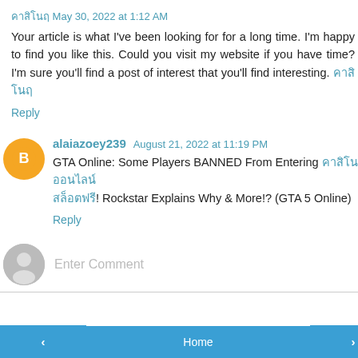คาสิโน^ May 30, 2022 at 1:12 AM
Your article is what I've been looking for for a long time. I'm happy to find you like this. Could you visit my website if you have time? I'm sure you'll find a post of interest that you'll find interesting. คาสิโน
Reply
alaiazoey239  August 21, 2022 at 11:19 PM
GTA Online: Some Players BANNED From Entering คาสิโนออนไลน์! Rockstar Explains Why & More!? (GTA 5 Online)
Reply
Enter Comment